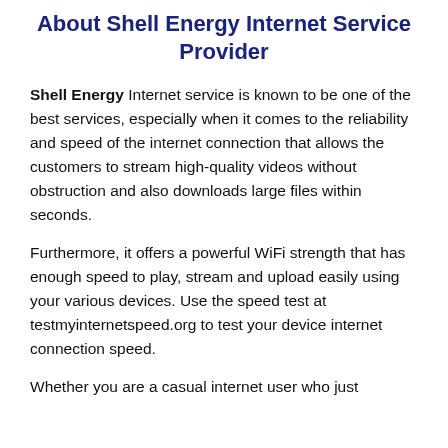About Shell Energy Internet Service Provider
Shell Energy Internet service is known to be one of the best services, especially when it comes to the reliability and speed of the internet connection that allows the customers to stream high-quality videos without obstruction and also downloads large files within seconds.
Furthermore, it offers a powerful WiFi strength that has enough speed to play, stream and upload easily using your various devices. Use the speed test at testmyinternetspeed.org to test your device internet connection speed.
Whether you are a casual internet user who just